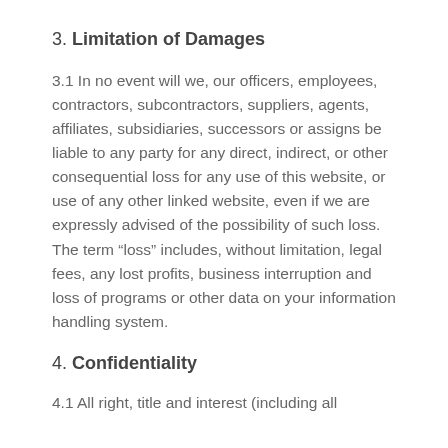3. Limitation of Damages
3.1 In no event will we, our officers, employees, contractors, subcontractors, suppliers, agents, affiliates, subsidiaries, successors or assigns be liable to any party for any direct, indirect, or other consequential loss for any use of this website, or use of any other linked website, even if we are expressly advised of the possibility of such loss. The term “loss” includes, without limitation, legal fees, any lost profits, business interruption and loss of programs or other data on your information handling system.
4. Confidentiality
4.1 All right, title and interest (including all